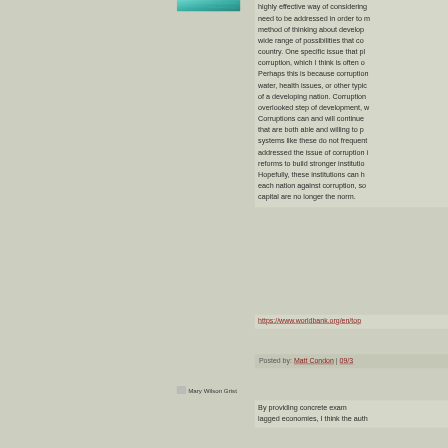[Figure (illustration): Small teal/green avatar image in upper right area]
highly effective way of considering... need to be addressed in order to m... method of thinking about develop... wide range of possibilities that co... country. One specific issue that pl... corruption, which I think is often o... Perhaps this is because corruption... water, health issues, or other typic... of a developing nation. Corruption... overlooked step of development, w... Corruptions can and will continue ... that are both able and willing to p... systems like these do not frequent... addressed the issue of corruption i... reforms to build stronger institutio... Hopefully, these institutions can h... each nation against corruption, so ... capital are no longer the norm.
https://www.worldbank.org/en/top...
Posted by: Matt Condon | 09/3...
[Figure (illustration): Mary Wilson Grist avatar image]
By providing concrete exam... lagged economies, I think the auth...